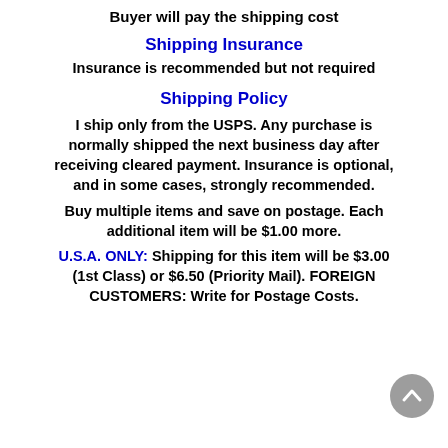Buyer will pay the shipping cost
Shipping Insurance
Insurance is recommended but not required
Shipping Policy
I ship only from the USPS. Any purchase is normally shipped the next business day after receiving cleared payment. Insurance is optional, and in some cases, strongly recommended.
Buy multiple items and save on postage. Each additional item will be $1.00 more.
U.S.A. ONLY: Shipping for this item will be $3.00 (1st Class) or $6.50 (Priority Mail). FOREIGN CUSTOMERS: Write for Postage Costs.